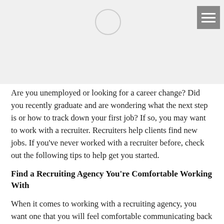[Figure (other): Gray header banner with a circular icon in the center and a gray menu/hamburger icon button in the top-right corner]
Are you unemployed or looking for a career change? Did you recently graduate and are wondering what the next step is or how to track down your first job? If so, you may want to work with a recruiter. Recruiters help clients find new jobs. If you've never worked with a recruiter before, check out the following tips to help get you started.
Find a Recruiting Agency You're Comfortable Working With
When it comes to working with a recruiting agency, you want one that you will feel comfortable communicating back and forth with, as you’ll be using it as a shared...